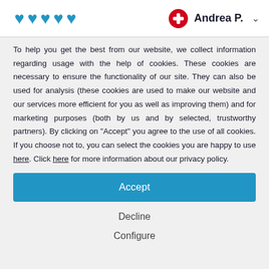[Figure (screenshot): Navigation bar with five blue heart icons on the left, and a red circular plus icon followed by bold text 'Andrea P.' and a chevron/dropdown arrow on the right]
To help you get the best from our website, we collect information regarding usage with the help of cookies. These cookies are necessary to ensure the functionality of our site. They can also be used for analysis (these cookies are used to make our website and our services more efficient for you as well as improving them) and for marketing purposes (both by us and by selected, trustworthy partners). By clicking on "Accept" you agree to the use of all cookies. If you choose not to, you can select the cookies you are happy to use here. Click here for more information about our privacy policy.
Accept
Decline
Configure